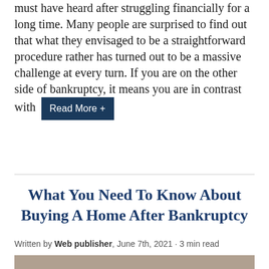must have heard after struggling financially for a long time. Many people are surprised to find out that what they envisaged to be a straightforward procedure rather has turned out to be a massive challenge at every turn. If you are on the other side of bankruptcy, it means you are in contrast with [Read More +]
What You Need To Know About Buying A Home After Bankruptcy
Written by Web publisher, June 7th, 2021 · 3 min read
[Figure (photo): Partial photo strip at the bottom of the article card]